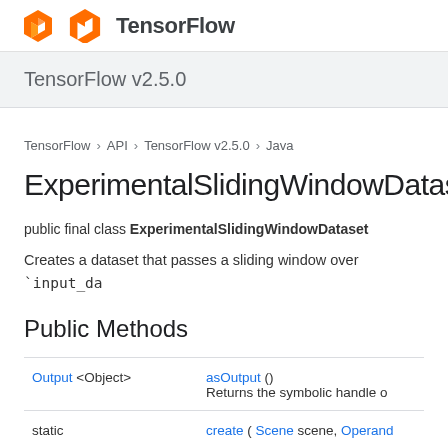TensorFlow
TensorFlow v2.5.0
TensorFlow > API > TensorFlow v2.5.0 > Java
ExperimentalSlidingWindowDataset
public final class ExperimentalSlidingWindowDataset
Creates a dataset that passes a sliding window over `input_da
Public Methods
| Return type | Method |
| --- | --- |
| Output <Object> | asOutput ()
Returns the symbolic handle o |
| static | create ( Scene scene, Operand |